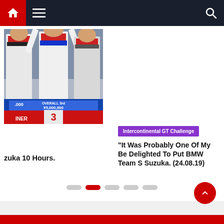Navigation bar with home, menu, and search icons
[Figure (photo): Racing podium photo showing drivers in white racing suits with red accents, standing on a podium. A sign reads 'OVERALL 3rd ¥5,000,000' and displays a number 3 in red.]
zuka 10 Hours.
Intercontinental GT Challenge
“It Was Probably One Of My Be Delighted To Put BMW Team S Suzuka. (24.08.19)